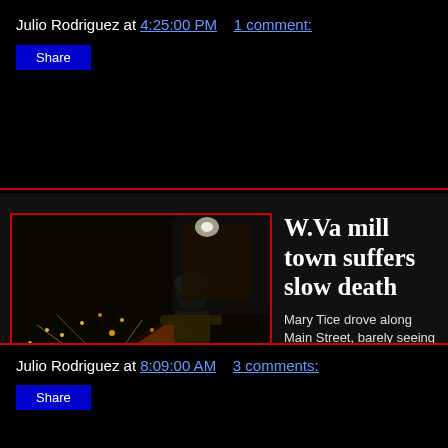Julio Rodriguez at 4:25:00 PM   1 comment:
Share
[Figure (photo): Industrial worker in a steel mill with bright orange sparks flying from molten metal on a conveyor or rail, dark industrial background]
W.Va mill town suffers slow death
Mary Tice drove along Main Street, barely seeing the worn storefronts, the seedy strip clubs, the flashy video poker bars promising better luck....more
Julio Rodriguez at 8:09:00 AM   3 comments:
Share